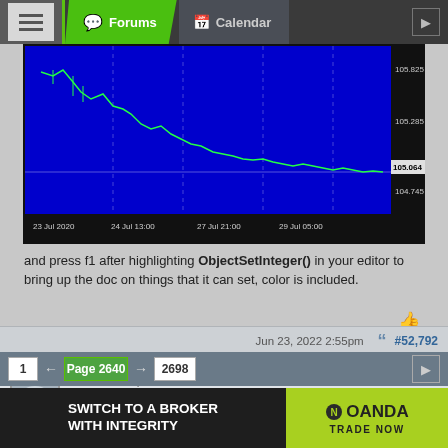Forums | Calendar
[Figure (continuous-plot): Forex price chart showing candlestick/line data from 23 Jul 2020 to 29 Jul 05:00, with blue background. Price range approximately 104.745 to 105.825. Current price marker at 105.064.]
and press f1 after highlighting ObjectSetInteger() in your editor to bring up the doc on things that it can set, color is included.
Jun 23, 2022 2:55pm   #52,792
xmatax | Joined Feb 2020
You can add a push alert and also popup alert. Thank you very much
Attached File
MACD_ColorHist_Alert.ex4  24 KB | 24 downloads
1 ← Page 2640 → 2698